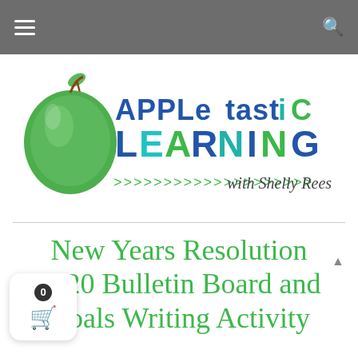Navigation bar with hamburger menu and search icon
[Figure (logo): Appletastic Learning with Shelly Rees logo. Green apple on the left, colorful 'APPLetastiC' text in blue/teal/green uppercase above 'LEARNING' in large bold multicolor letters, with green arrow chevrons and cursive 'with Shelly Rees' text below.]
New Years Resolution 2020 Bulletin Board and Goals Writing Activity